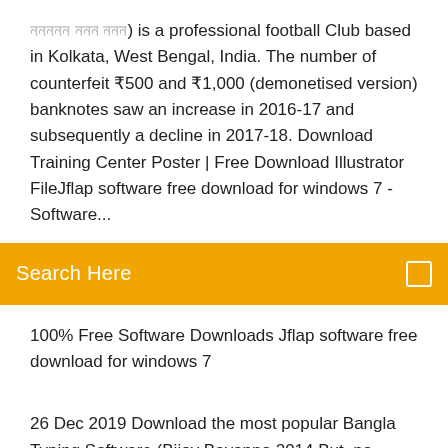ননননন ননন ননন) is a professional football Club based in Kolkata, West Bengal, India. The number of counterfeit ₹500 and ₹1,000 (demonetised version) banknotes saw an increase in 2016-17 and subsequently a decline in 2017-18. Download Training Center Poster | Free Download Illustrator FileJflap software free download for windows 7 - Software...
Search Here
100% Free Software Downloads Jflap software free download for windows 7
26 Dec 2019 Download the most popular Bangla Typing Software (Bijoy Bayanno 2014 But, no tension, I'll give you the full version for free with serial key. Bijoy Bayanno Full Version with Serial key for Windows Download Adobe 1506G New Software 1 Year DSCAM Free - Hi Guys in this post I am sharing. Bijoy Bayanno 52 free download latest version is bangla typing software. bijoy 52 is best bangla typing software. Bijoy